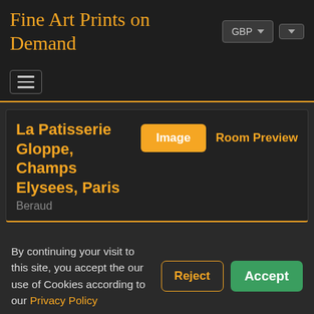Fine Art Prints on Demand
La Patisserie Gloppe, Champs Elysees, Paris
Beraud
By continuing your visit to this site, you accept the our use of Cookies according to our Privacy Policy